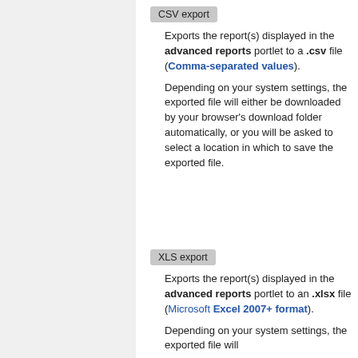CSV export
Exports the report(s) displayed in the advanced reports portlet to a .csv file (Comma-separated values).
Depending on your system settings, the exported file will either be downloaded by your browser's download folder automatically, or you will be asked to select a location in which to save the exported file.
XLS export
Exports the report(s) displayed in the advanced reports portlet to an .xlsx file (Microsoft Excel 2007+ format).
Depending on your system settings, the exported file will